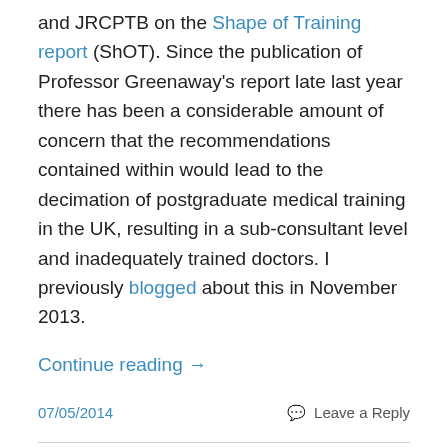and JRCPTB on the Shape of Training report (ShOT). Since the publication of Professor Greenaway's report late last year there has been a considerable amount of concern that the recommendations contained within would lead to the decimation of postgraduate medical training in the UK, resulting in a sub-consultant level and inadequately trained doctors. I previously blogged about this in November 2013.
Continue reading →
07/05/2014
Leave a Reply
Unfit for purpose?: UK Undergraduate Medical